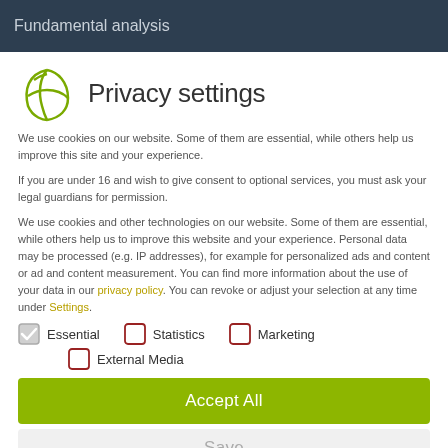Fundamental analysis
Privacy settings
We use cookies on our website. Some of them are essential, while others help us improve this site and your experience.
If you are under 16 and wish to give consent to optional services, you must ask your legal guardians for permission.
We use cookies and other technologies on our website. Some of them are essential, while others help us to improve this website and your experience. Personal data may be processed (e.g. IP addresses), for example for personalized ads and content or ad and content measurement. You can find more information about the use of your data in our privacy policy. You can revoke or adjust your selection at any time under Settings.
Essential (checked)
Statistics (unchecked)
Marketing (unchecked)
External Media (unchecked)
Accept All
Save